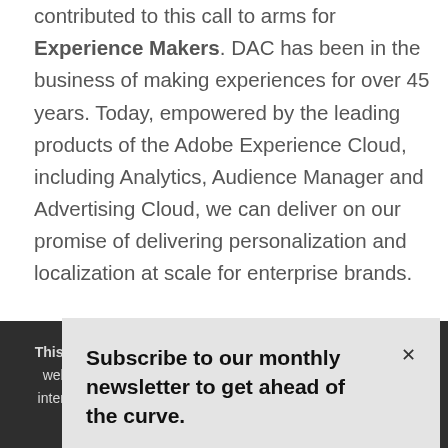contributed to this call to arms for Experience Makers. DAC has been in the business of making experiences for over 45 years. Today, empowered by the leading products of the Adobe Experience Cloud, including Analytics, Audience Manager and Advertising Cloud, we can deliver on our promise of delivering personalization and localization at scale for enterprise brands.
While experience was top of mind throughout the week, th... th...
[Figure (screenshot): Newsletter subscription popup with text 'Subscribe to our monthly newsletter to get ahead of the curve.' and an X close button, overlaid on the article text.]
This website uses cookies. We collect cookies to make this website work and to serve you ads that correspond to your interests. You can disable the cookies through your browser. Some features of the site will no longer be available. To learn more, see our Privacy...